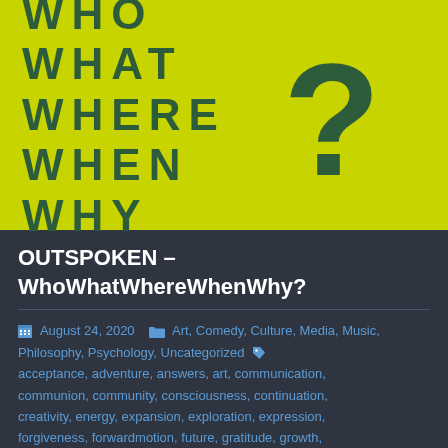[Figure (illustration): Yellow-green (chartreuse) background with stacked words WHO WHAT WHERE WHEN WHY in dark green bold uppercase letters on the left, and a large dark green question mark on the right.]
OUTSPOKEN – WhoWhatWhereWhenWhy?
August 24, 2020  Art, Comedy, Culture, Media, Music, Philosophy, Psychology, Uncategorized  acceptance, adventure, answers, art, communication, communion, community, consciousness, continuation, creativity, energy, expansion, exploration, expression, forgiveness, forwardmotion, future, gratitude, growth, learning, mission, music, opening, original, outspoken,